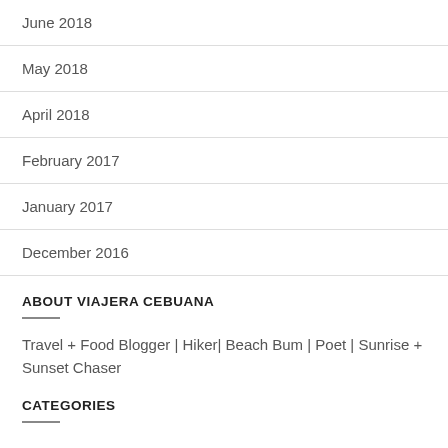June 2018
May 2018
April 2018
February 2017
January 2017
December 2016
ABOUT VIAJERA CEBUANA
Travel + Food Blogger | Hiker| Beach Bum | Poet | Sunrise + Sunset Chaser
CATEGORIES